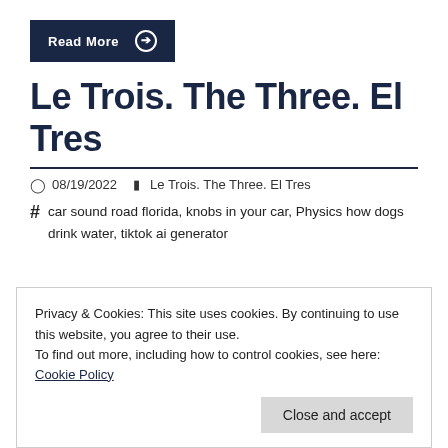Read More →
Le Trois. The Three. El Tres
08/19/2022   Le Trois. The Three. El Tres
# car sound road florida, knobs in your car, Physics how dogs drink water, tiktok ai generator
Privacy & Cookies: This site uses cookies. By continuing to use this website, you agree to their use. To find out more, including how to control cookies, see here: Cookie Policy
Close and accept
physics lesson on how your pet dog drinks water